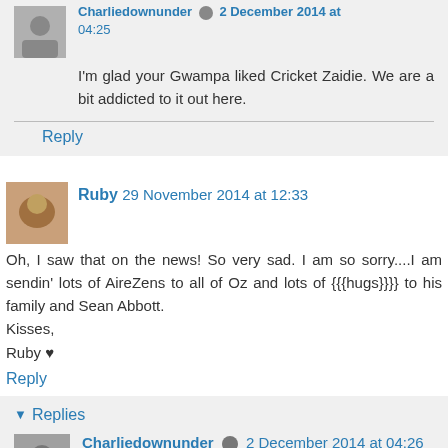I'm glad your Gwampa liked Cricket Zaidie. We are a bit addicted to it out here.
Reply
Ruby 29 November 2014 at 12:33
Oh, I saw that on the news! So very sad. I am so sorry....I am sendin' lots of AireZens to all of Oz and lots of {{{hugs}}}} to his family and Sean Abbott.
Kisses,
Ruby ♥
Reply
▼ Replies
Charliedownunder 2 December 2014 at 04:26
Thanks Ruby ..... AireZens always help, aye??